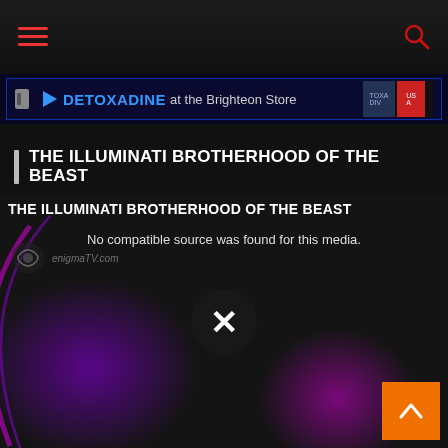Navigation bar with hamburger menu and search icon
[Figure (screenshot): Advertisement banner for DETOXADINE at the Brighteon Store with blue background and product images]
THE ILLUMINATI BROTHERHOOD OF THE BEAST
[Figure (screenshot): Video player showing THE ILLUMINATI BROTHERHOOD OF THE BEAST with message 'No compatible source was found for this media.' and an X close button overlay. Background shows dark scene with purple/magenta light effects and enigmaTV.com watermark logo. Orange back-to-top button in bottom-right corner.]